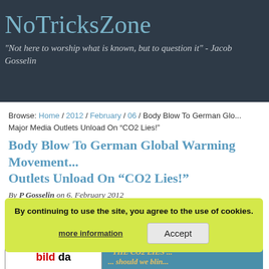NoTricksZone
"Not here to worship what is known, but to question it" - Jacob Gosselin
Browse: Home / 2012 / February / 06 / Body Blow To German Glo... Major Media Outlets Unload On “CO2 Lies!”
Body Blow To German Global Warming Movement... Outlets Unload On “CO2 Lies!”
By P Gosselin on 6. February 2012
Share this...
By continuing to use the site, you agree to the use of cookies. more information  Accept